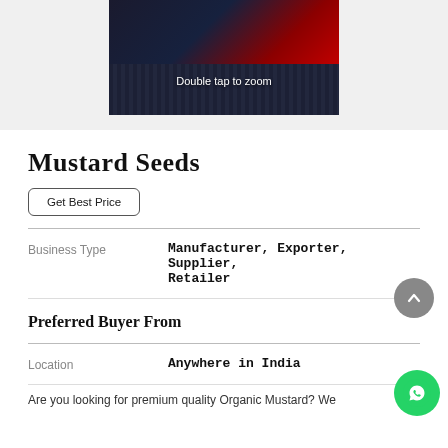[Figure (photo): Product image of Mustard Seeds with dark background and red label/packaging, overlaid with 'Double tap to zoom' text]
Mustard Seeds
Get Best Price
| Business Type |  |
| --- | --- |
| Business Type | Manufacturer, Exporter, Supplier, Retailer |
Preferred Buyer From
| Location |  |
| --- | --- |
| Location | Anywhere in India |
Are you looking for premium quality Organic Mustard? We